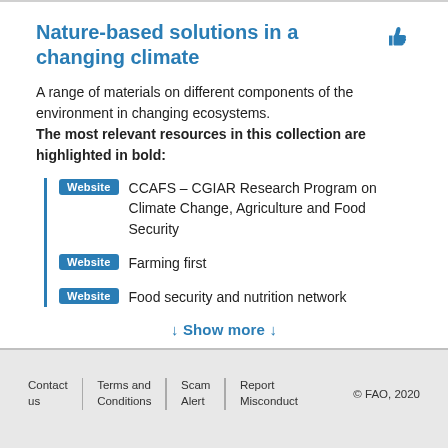Nature-based solutions in a changing climate
A range of materials on different components of the environment in changing ecosystems. The most relevant resources in this collection are highlighted in bold:
Website — CCAFS – CGIAR Research Program on Climate Change, Agriculture and Food Security
Website — Farming first
Website — Food security and nutrition network
↓ Show more ↓
Contact us | Terms and Conditions | Scam Alert | Report Misconduct | © FAO, 2020